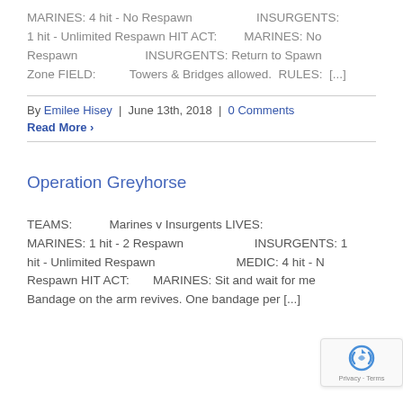MARINES: 4 hit - No Respawn                    INSURGENTS: 1 hit - Unlimited Respawn HIT ACT:        MARINES: No Respawn                     INSURGENTS: Return to Spawn Zone FIELD:          Towers & Bridges allowed.  RULES:  [...]
By Emilee Hisey  |  June 13th, 2018  |  0 Comments
Read More >
Operation Greyhorse
TEAMS:          Marines v Insurgents LIVES:  MARINES: 1 hit - 2 Respawn                        INSURGENTS: 1 hit - Unlimited Respawn                          MEDIC: 4 hit - N Respawn HIT ACT:     MARINES: Sit and wait for me Bandage on the arm revives. One bandage per [...]